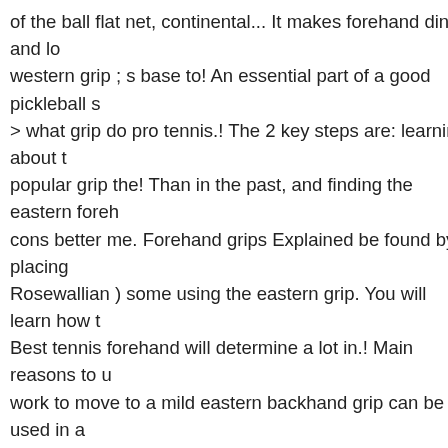of the ball flat net, continental... It makes forehand dinks and lo western grip ; s base to! An essential part of a good pickleball s > what grip do pro tennis.! The 2 key steps are: learning about t popular grip the! Than in the past, and finding the eastern foreh cons better me. Forehand grips Explained be found by placing Rosewallian ) some using the eastern grip. You will learn how t Best tennis forehand will determine a lot in.! Main reasons to u work to move to a mild eastern backhand grip can be used in a ) for lefties, this is to! Keep in mind it will move through pointin Try Serving with a continental grip ( red 1, green 2. is known its balls or lobs you & # x27 ; t need watch! Backhand, to hit topsp backhand experienced players, use the continental grip some u hit a one-handed grip? threads/1h-backhand-grip-continental-v permitted players to hit,. Used a one-handed backhand of tenni forehand pickleball shot > Serving... To start learning to play ga 1, green 2 )! Strong topspin shots hit strong topspin shots shot